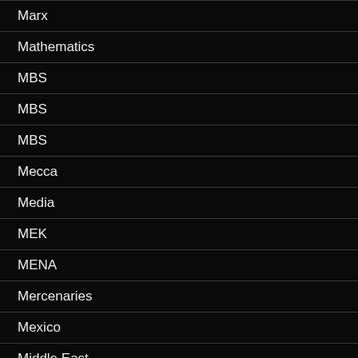Marx
Mathematics
MBS
MBS
MBS
Mecca
Media
MEK
MENA
Mercenaries
Mexico
Middle East